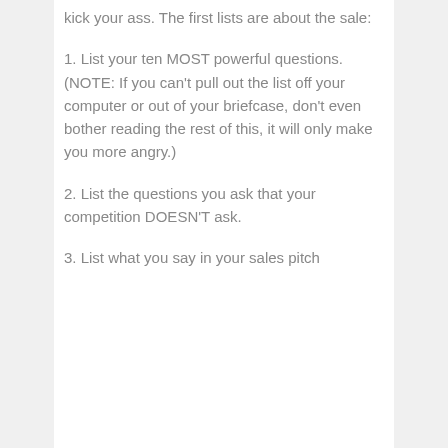kick your ass. The first lists are about the sale:
1. List your ten MOST powerful questions.(NOTE: If you can't pull out the list off your computer or out of your briefcase, don't even bother reading the rest of this, it will only make you more angry.)
2. List the questions you ask that your competition DOESN'T ask.
3. List what you say in your sales pitch